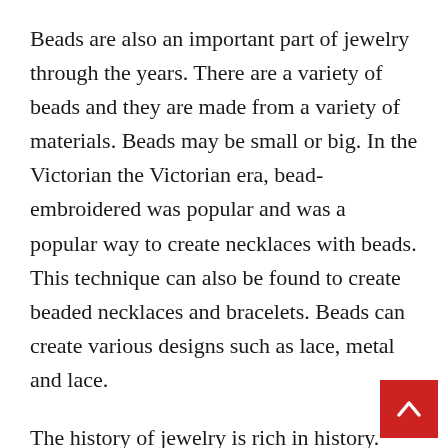Beads are also an important part of jewelry through the years. There are a variety of beads and they are made from a variety of materials. Beads may be small or big. In the Victorian the Victorian era, bead-embroidered was popular and was a popular way to create necklaces with beads. This technique can also be found to create beaded necklaces and bracelets. Beads can create various designs such as lace, metal and lace.
The history of jewelry is rich in history. The first types of jewelry were made of metal , and were often ornamented by silver, gold or copper. The ancient Romans carried gold necklaces. The necklaces of their time were made of silver. This type of jewellery was not just beautiful, but also